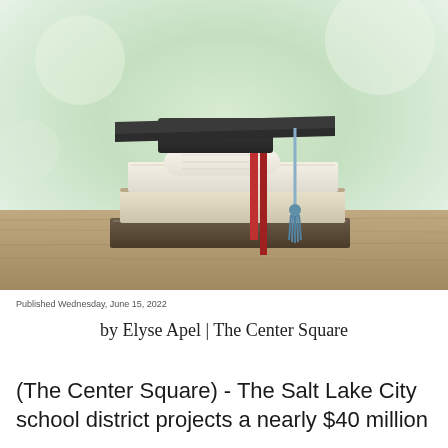[Figure (photo): A graduation cap (mortarboard) resting on a stack of books with a rolled diploma tied with a red ribbon and blue tassel, on a wooden surface with a green blurred background.]
Published Wednesday, June 15, 2022
by Elyse Apel | The Center Square
(The Center Square) - The Salt Lake City school district projects a nearly $40 million